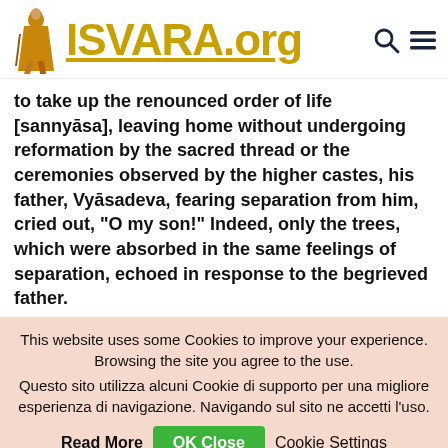ISVARA.org
to take up the renounced order of life [sannyāsa], leaving home without undergoing reformation by the sacred thread or the ceremonies observed by the higher castes, his father, Vyāsadeva, fearing separation from him, cried out, “O my son!” Indeed, only the trees, which were absorbed in the same feelings of separation, echoed in response to the begrieved father.
This website uses some Cookies to improve your experience. Browsing the site you agree to the use.
Questo sito utilizza alcuni Cookie di supporto per una migliore esperienza di navigazione. Navigando sul sito ne accetti l'uso.
Read More  OK Close  Cookie Settings
English